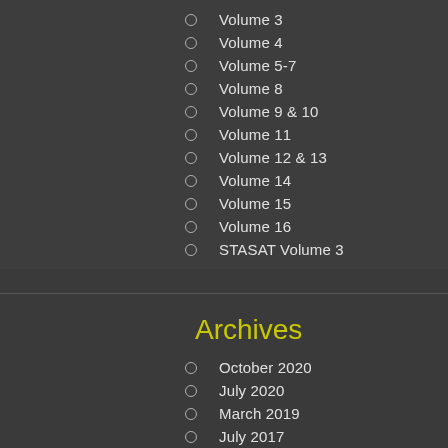Volume 3
Volume 4
Volume 5-7
Volume 8
Volume 9 & 10
Volume 11
Volume 12 & 13
Volume 14
Volume 15
Volume 16
STASAT Volume 3
Archives
October 2020
July 2020
March 2019
July 2017